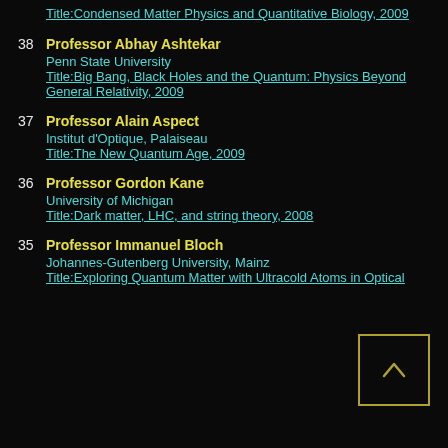Title:Condensed Matter Physics and Quantitative Biology, 2009
38 Professor Abhay Ashtekar
Penn State University
Title:Big Bang, Black Holes and the Quantum: Physics Beyond General Relativity, 2009
37 Professor Alain Aspect
Institut d'Optique, Palaiseau
Title:The New Quantum Age, 2009
36 Professor Gordon Kane
University of Michigan
Title:Dark matter, LHC, and string theory, 2008
35 Professor Immanuel Bloch
Johannes-Gutenberg University, Mainz
Title:Exploring Quantum Matter with Ultracold Atoms in Optical